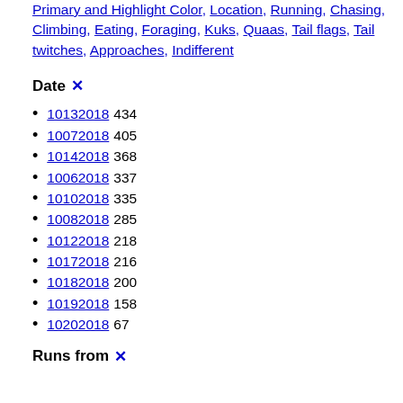Primary and Highlight Color, Location, Running, Chasing, Climbing, Eating, Foraging, Kuks, Quaas, Tail flags, Tail twitches, Approaches, Indifferent
Date ✕
10132018 434
10072018 405
10142018 368
10062018 337
10102018 335
10082018 285
10122018 218
10172018 216
10182018 200
10192018 158
10202018 67
Runs from ✕